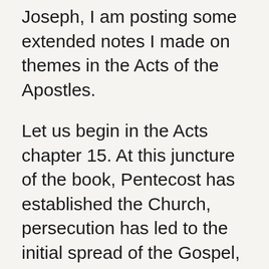Joseph, I am posting some extended notes I made on themes in the Acts of the Apostles.
Let us begin in the Acts chapter 15. At this juncture of the book, Pentecost has established the Church, persecution has led to the initial spread of the Gospel, Saul has been converted and, having taken the name of Paul, made his